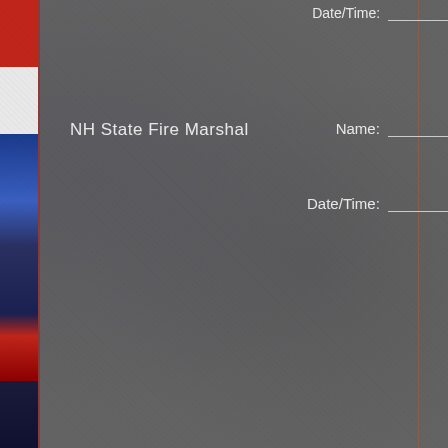Date/Time: ___
NH State Fire Marshal
Name: ___
Date/Time: ___